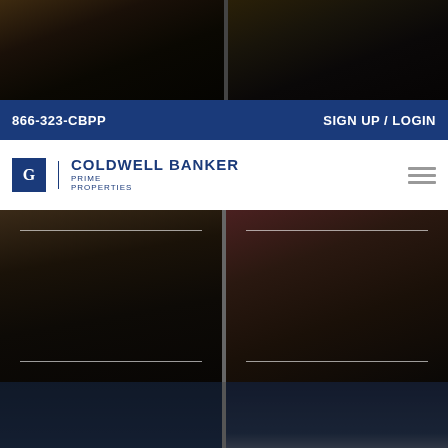[Figure (photo): Two dark interior room photos at top of page, side by side]
866-323-CBPP   SIGN UP / LOGIN
[Figure (logo): Coldwell Banker Prime Properties logo with hamburger menu icon]
[Figure (photo): Two interior home photos side by side — kitchen and decorative pillows]
[Figure (photo): Two city thumbnail photos — Augusta aerial and Austerlitz house exterior with city name labels]